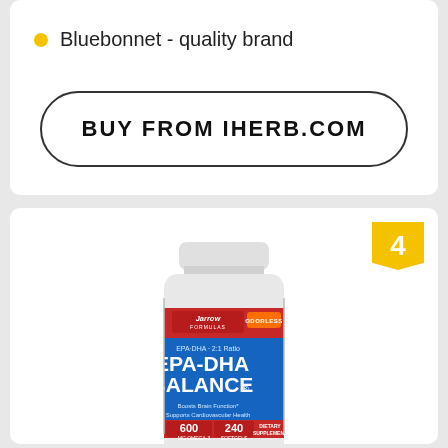Bluebonnet - quality brand
BUY FROM IHERB.COM
[Figure (photo): Jarrow Formulas EPA-DHA Balance supplement bottle, 600mg Omega-3, 240 Softgels, Odorless, Boosts Brain Function, Supports Cardiovascular Health, with number 4 badge]
4